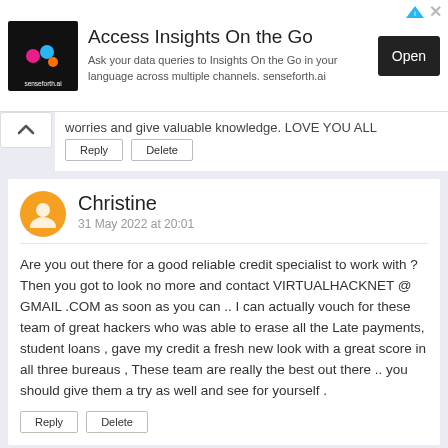[Figure (infographic): Advertisement banner for Senseforth.ai 'Access Insights On the Go' with logo, description text, and Open button]
worries and give valuable knowledge. LOVE YOU ALL
Reply   Delete
Christine
31 May 2022 at 20:01
Are you out there for a good reliable credit specialist to work with ? Then you got to look no more and contact VIRTUALHACKNET @ GMAIL .COM as soon as you can .. I can actually vouch for these team of great hackers who was able to erase all the Late payments, student loans , gave my credit a fresh new look with a great score in all three bureaus , These team are really the best out there .. you should give them a try as well and see for yourself .
Reply   Delete
Charles Ridgway